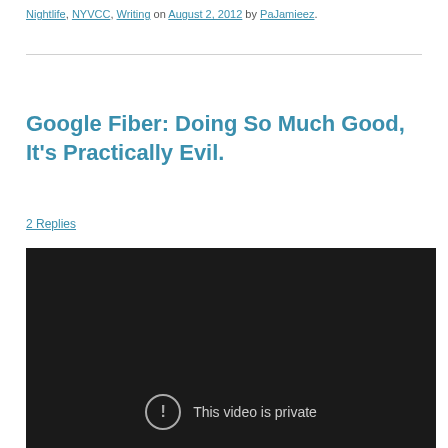Nightlife, NYVCC, Writing on August 2, 2012 by PaJamieez.
Google Fiber: Doing So Much Good, It’s Practically Evil.
2 Replies
[Figure (screenshot): Embedded video player showing 'This video is private' error message with exclamation icon on dark background.]